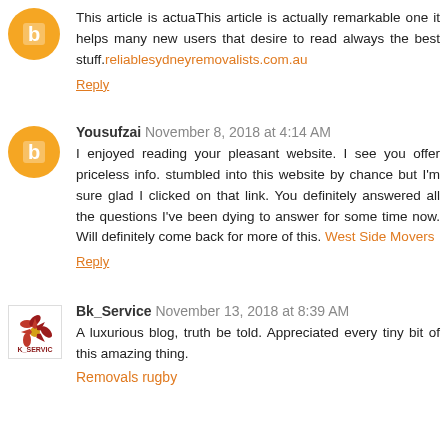This article is actuaThis article is actually remarkable one it helps many new users that desire to read always the best stuff.reliablesydneyremovalists.com.au
Reply
Yousufzai November 8, 2018 at 4:14 AM
I enjoyed reading your pleasant website. I see you offer priceless info. stumbled into this website by chance but I'm sure glad I clicked on that link. You definitely answered all the questions I've been dying to answer for some time now. Will definitely come back for more of this. West Side Movers
Reply
Bk_Service November 13, 2018 at 8:39 AM
A luxurious blog, truth be told. Appreciated every tiny bit of this amazing thing.
Removals rugby